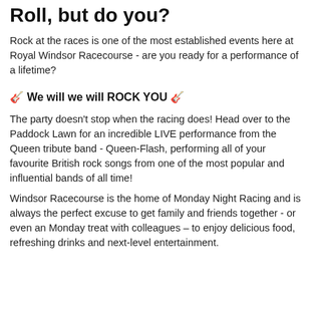Roll, but do you?
Rock at the races is one of the most established events here at Royal Windsor Racecourse - are you ready for a performance of a lifetime?
🎸 We will we will ROCK YOU 🎸
The party doesn't stop when the racing does! Head over to the Paddock Lawn for an incredible LIVE performance from the Queen tribute band - Queen-Flash, performing all of your favourite British rock songs from one of the most popular and influential bands of all time!
Windsor Racecourse is the home of Monday Night Racing and is always the perfect excuse to get family and friends together - or even an Monday treat with colleagues – to enjoy delicious food, refreshing drinks and next-level entertainment.